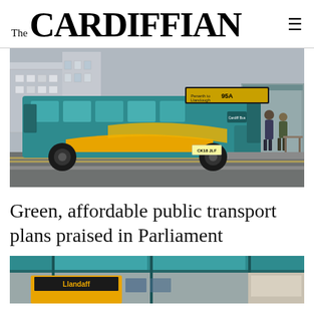The CARDIFFIAN
[Figure (photo): A teal and yellow Cardiff Bus (route 95A) driving along a city street, with pedestrians visible at a bus stop on the right and urban buildings in the background.]
Green, affordable public transport plans praised in Parliament
[Figure (photo): A partial view of a yellow bus at what appears to be a covered bus station or transit terminal, with teal structural canopy visible above.]